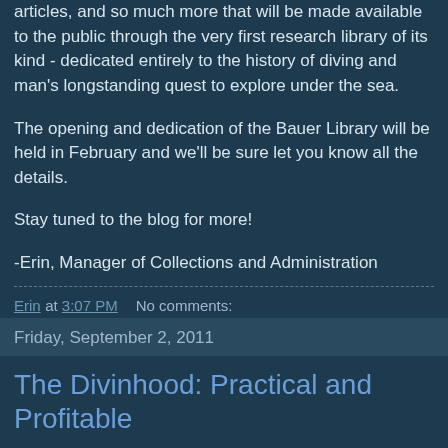articles, and so much more that will be made available to the public through the very first research library of its kind - dedicated entirely to the history of diving and man's longstanding quest to explore under the sea.
The opening and dedication of the Bauer Library will be held in February and we'll be sure let you know all the details.
Stay tuned to the blog for more!
-Erin, Manager of Collections and Administration
Erin at 3:07 PM    No comments:
Share
Friday, September 2, 2011
The Divinhood: Practical and Profitable
"A diving apparatus so simple anyone can use it"